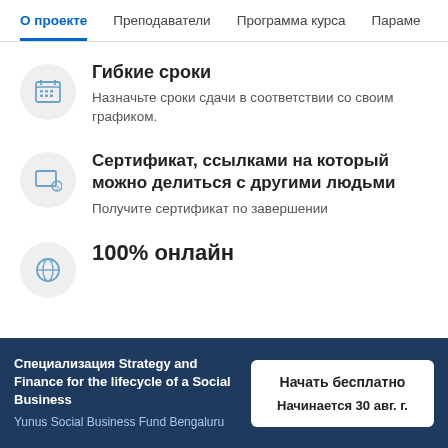О проекте  Преподаватели  Программа курса  Параме
Гибкие сроки — Назначьте сроки сдачи в соответствии со своим графиком.
Сертификат, ссылками на который можно делиться с другими людьми — Получите сертификат по завершении
100% онлайн
Специализация Strategy and Finance for the lifecycle of a Social Business
Yunus Social Business Fund Bengaluru
Начать бесплатно
Начинается 30 авг. г.